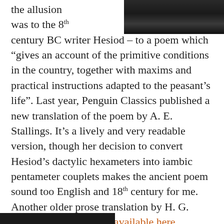[Figure (photo): Black and white photograph of a person in suit and tie, partially visible in upper right corner of page]
the allusion was to the 8th century BC writer Hesiod – to a poem which "gives an account of the primitive conditions in the country, together with maxims and practical instructions adapted to the peasant's life". Last year, Penguin Classics published a new translation of the poem by A. E. Stallings. It's a lively and very readable version, though her decision to convert Hesiod's dactylic hexameters into iambic pentameter couplets makes the ancient poem sound too English and 18th century for me. Another older prose translation by H. G. Evelyn-White is freely available here.
[Figure (photo): Black and white photograph partially visible at bottom of page]